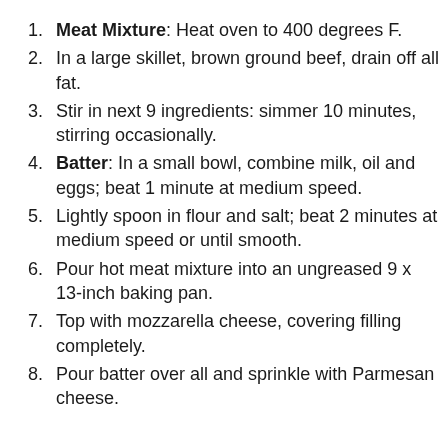Meat Mixture: Heat oven to 400 degrees F.
In a large skillet, brown ground beef, drain off all fat.
Stir in next 9 ingredients: simmer 10 minutes, stirring occasionally.
Batter: In a small bowl, combine milk, oil and eggs; beat 1 minute at medium speed.
Lightly spoon in flour and salt; beat 2 minutes at medium speed or until smooth.
Pour hot meat mixture into an ungreased 9 x 13-inch baking pan.
Top with mozzarella cheese, covering filling completely.
Pour batter over all and sprinkle with Parmesan cheese.